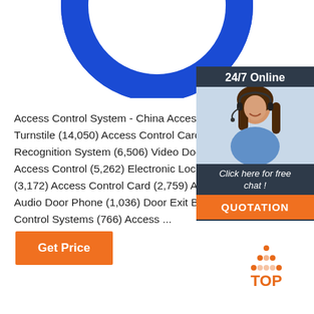[Figure (illustration): Blue ring/donut shape partially visible at the top of the page, cropped]
Access Control System - China Access Control, Trip Turnstile (14,050) Access Control Card Reader (8,4... Recognition System (6,506) Video Door Phone (5,5... Access Control (5,262) Electronic Lock (4,236) Acce... (3,172) Access Control Card (2,759) Access Control... Audio Door Phone (1,036) Door Exit Button (926) C... Control Systems (766) Access ...
[Figure (infographic): Sidebar widget with dark background, '24/7 Online' label, photo of smiling woman with headset, 'Click here for free chat!' text, and orange QUOTATION button]
[Figure (illustration): Orange dotted triangle icon above orange 'TOP' text forming a back-to-top button badge]